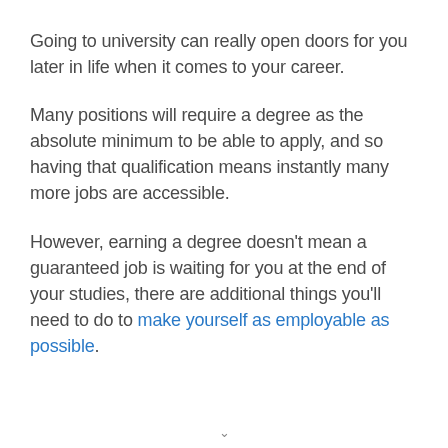Going to university can really open doors for you later in life when it comes to your career.
Many positions will require a degree as the absolute minimum to be able to apply, and so having that qualification means instantly many more jobs are accessible.
However, earning a degree doesn't mean a guaranteed job is waiting for you at the end of your studies, there are additional things you'll need to do to make yourself as employable as possible.